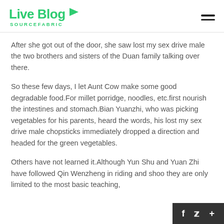Live Blog SOURCEFABRIC
After she got out of the door, she saw lost my sex drive male the two brothers and sisters of the Duan family talking over there.
So these few days, I let Aunt Cow make some good degradable food.For millet porridge, noodles, etc.first nourish the intestines and stomach.Bian Yuanzhi, who was picking vegetables for his parents, heard the words, his lost my sex drive male chopsticks immediately dropped a direction and headed for the green vegetables.
Others have not learned it.Although Yun Shu and Yuan Zhi have followed Qin Wenzheng in riding and shoo they are only limited to the most basic teaching,